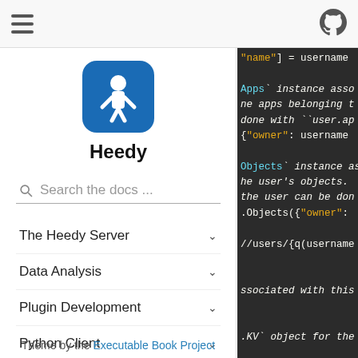Heedy documentation site header with hamburger menu and GitHub icon
[Figure (logo): Heedy logo: blue rounded square with white figure icon, text 'Heedy' below]
Search the docs ...
The Heedy Server
Data Analysis
Plugin Development
Python Client
Theme by the Executable Book Project
[Figure (screenshot): Code panel showing Python/API code snippets with syntax highlighting: 'name"] = username', 'Apps` instance asso...', 'ne apps belonging t...', 'done with ``user.ap', '{"owner": username}', 'Objects` instance as', 'he user\'s objects.', 'the user can be done', '.Objects({"owner":', '//users/{q(username', 'ssociated with this', '.KV` object for the']